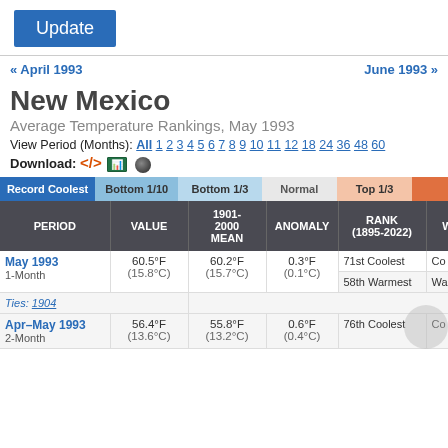Update
« April 1993   June 1993 »
New Mexico
Average Temperature Rankings, May 1993
View Period (Months): All 1 2 3 4 5 6 7 8 9 10 11 12 18 24 36 48 60
Download: <> [Excel] [O]
| PERIOD | VALUE | 1901-2000 MEAN | ANOMALY | RANK (1895-2022) | WA... |
| --- | --- | --- | --- | --- | --- |
| May 1993
1-Month | 60.5°F
(15.8°C) | 60.2°F
(15.7°C) | 0.3°F
(0.1°C) | 71st Coolest
58th Warmest | Co...
Wa... |
|  |  |  |  | Ties: 1904 |  |
| Apr–May 1993
2-Month | 56.4°F
(13.6°C) | 55.8°F
(13.2°C) | 0.6°F
(0.4°C) | 76th Coolest | Co... |